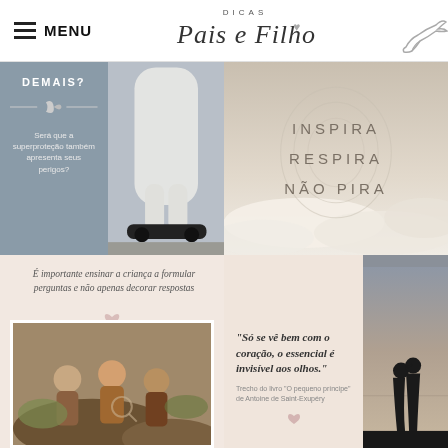MENU | DICAS Pais e Filhos
[Figure (photo): Top-left card: gray background with text 'DEMAIS?' and 'Será que a superproteção também apresenta seus perigos?' alongside a photo of a child on a hoverboard wrapped in bubble wrap]
[Figure (photo): Top-right card: muted sky/clouds background with text 'INSPIRA RESPIRA NÃO PIRA' in large spaced uppercase letters]
[Figure (photo): Bottom-left card: pink background with italic quote 'É importante ensinar a criança a formular perguntas e não apenas decorar respostas' and a photo of children exploring nature]
[Figure (photo): Bottom-right card: pink background with bold italic quote 'Só se vê bem com o coração, o essencial é invisível aos olhos.' with attribution 'Trecho do livro O pequeno príncipe de Antoine de Saint-Exupéry' and silhouette photo of couple]